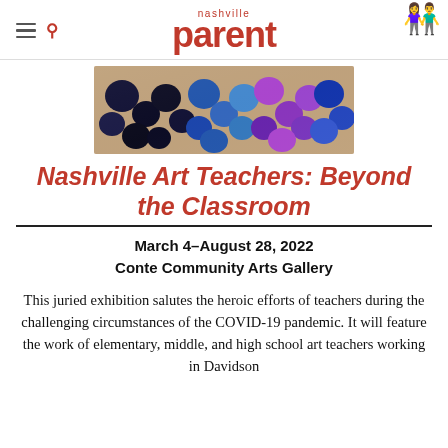nashville parent
[Figure (photo): Close-up photo of colorful circular art pieces — black, blue, and purple glittery discs arranged on a wooden surface]
Nashville Art Teachers: Beyond the Classroom
March 4–August 28, 2022
Conte Community Arts Gallery
This juried exhibition salutes the heroic efforts of teachers during the challenging circumstances of the COVID-19 pandemic. It will feature the work of elementary, middle, and high school art teachers working in Davidson